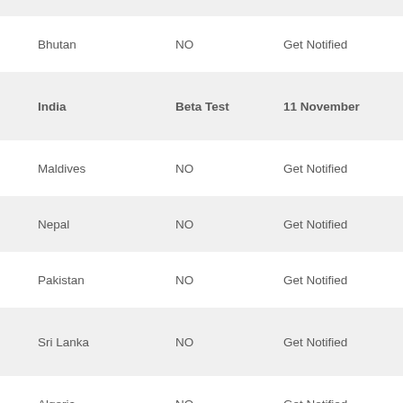| Country | Status | Action |
| --- | --- | --- |
| Bhutan | NO | Get Notified |
| India | Beta Test | 11 November |
| Maldives | NO | Get Notified |
| Nepal | NO | Get Notified |
| Pakistan | NO | Get Notified |
| Sri Lanka | NO | Get Notified |
| Algeria | NO | Get Notified |